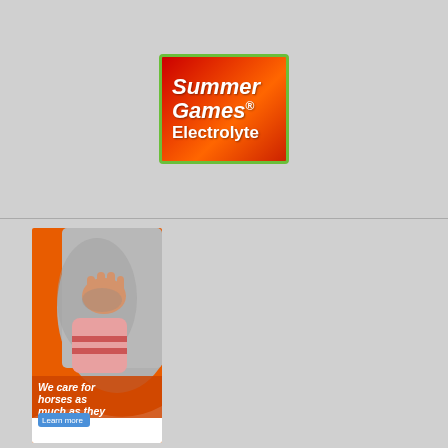[Figure (illustration): Summer Games Electrolyte product advertisement — red-to-orange gradient box with green border, white bold italic text reading 'Summer Games® Electrolyte']
[Figure (photo): Zoetis advertisement showing a child's hand touching a horse's grey coat, orange background with white italic text 'We care for horses as much as they care for us.' and a 'Learn more' button and Zoetis logo at bottom]